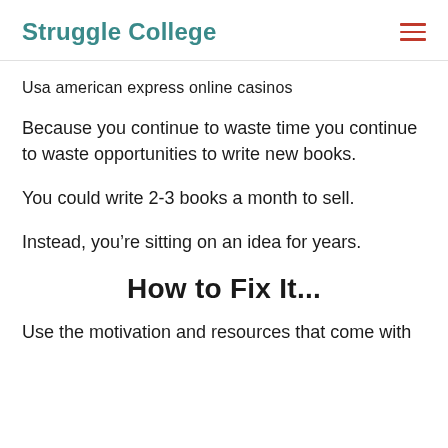Struggle College
Usa american express online casinos
Because you continue to waste time you continue to waste opportunities to write new books.
You could write 2-3 books a month to sell.
Instead, you’re sitting on an idea for years.
How to Fix It...
Use the motivation and resources that come with